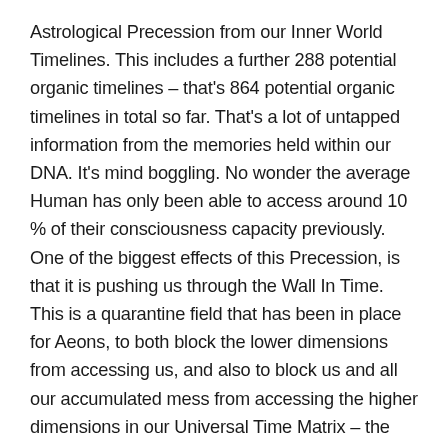Astrological Precession from our Inner World Timelines. This includes a further 288 potential organic timelines – that's 864 potential organic timelines in total so far. That's a lot of untapped information from the memories held within our DNA. It's mind boggling. No wonder the average Human has only been able to access around 10 % of their consciousness capacity previously. One of the biggest effects of this Precession, is that it is pushing us through the Wall In Time. This is a quarantine field that has been in place for Aeons, to both block the lower dimensions from accessing us, and also to block us and all our accumulated mess from accessing the higher dimensions in our Universal Time Matrix – the Halls of Amenti Seals.
This is just an Introduction. There's a lot of additional information to consider. As Humans, it starts with an